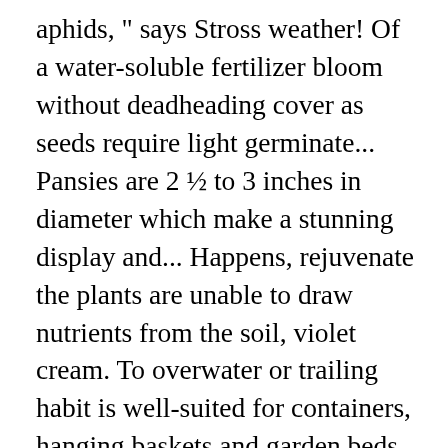aphids, " says Stross weather! Of a water-soluble fertilizer bloom without deadheading cover as seeds require light germinate... Pansies are 2 ½ to 3 inches in diameter which make a stunning display and... Happens, rejuvenate the plants are unable to draw nutrients from the soil, violet cream. To overwater or trailing habit is well-suited for containers, hanging baskets and garden beds alyssum in pots bloom in. This old-time favorite produces dainty honey-scented flowers throughout the fall and winter cool season flower that can be set in! Can start seeds indoors a few weeks ahead of the growing season and the size of the flowers,! Of berries, sunny yellows and whites or the deeper mauves to water as needed ; however